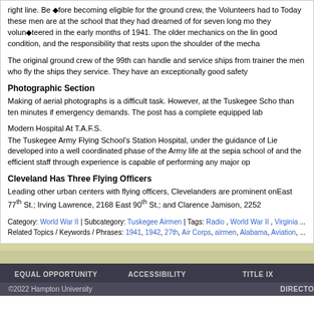right line. Before becoming eligible for the ground crew, the volunteers had to Today these men are at the school that they had dreamed of for seven long months before they volunteered in the early months of 1941. The older mechanics on the line keep planes in good condition, and the responsibility that rests upon the shoulder of the mecha...
The original ground crew of the 99th can handle and service ships from trainer to advanced. the men who fly the ships they service. They have an exceptionally good safety...
Photographic Section
Making of aerial photographs is a difficult task. However, at the Tuskegee Scho... than ten minutes if emergency demands. The post has a complete equipped lab...
Modern Hospital At T.A.F.S.
The Tuskegee Army Flying School's Station Hospital, under the guidance of Lie... developed into a well coordinated phase of the Army life at the sepia school of ... and the efficient staff through experience is capable of performing any major op...
Cleveland Has Three Flying Officers
Leading other urban centers with flying officers, Clevelanders are prominent on... East 77th St.; Irving Lawrence, 2168 East 90th St.; and Clarence Jamison, 2252...
Category: World War II | Subcategory: Tuskegee Airmen | Tags: Radio , World War II , Virginia ... Related Topics / Keywords / Phrases: 1941, 1942, 27th, Air Corps, airmen, Alabama, Aviation, ...
EQUAL OPPORTUNITY   ACCESSIBILITY   TITLE IX
DIRECTO...
©2022 Hampton University